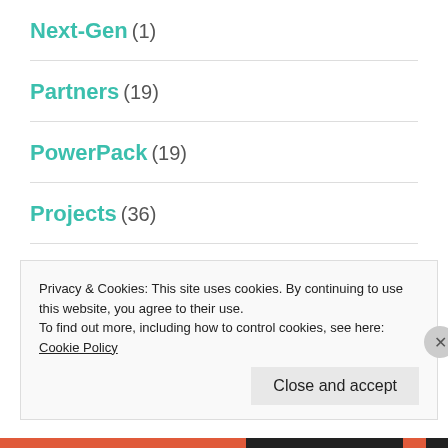Next-Gen (1)
Partners (19)
PowerPack (19)
Projects (36)
Rebar in Revit (3)
Reinforced Concrete (3)
Privacy & Cookies: This site uses cookies. By continuing to use this website, you agree to their use.
To find out more, including how to control cookies, see here: Cookie Policy
Close and accept